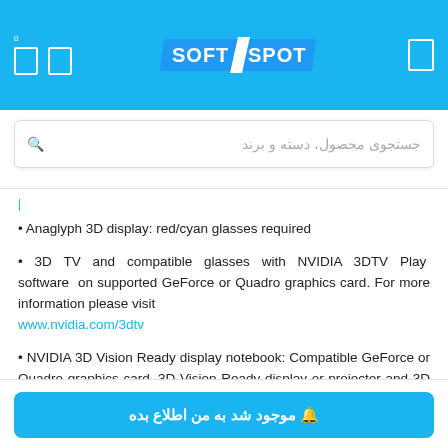SOFT SPOT
جستجوی محصول، دسته و برند
• Anaglyph 3D display: red/cyan glasses required
• 3D TV and compatible glasses with NVIDIA 3DTV Play software on supported GeForce or Quadro graphics card. For more information please visit www.nvidia.com/3dtv
• NVIDIA 3D Vision Ready display notebook: Compatible GeForce or Quadro graphics card, 3D Vision Ready display or projector and 3D Vision/3D Vision Pro glasses and emitter.
For more information please visit
🔔 موجود شد به من اطلاع بده